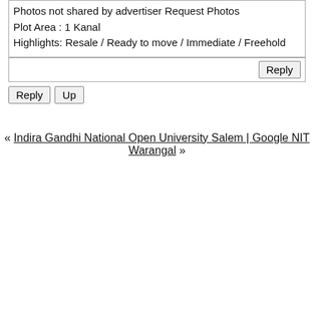Photos not shared by advertiser Request Photos
Plot Area : 1 Kanal
Highlights: Resale / Ready to move / Immediate / Freehold
Reply
Reply  Up
« Indira Gandhi National Open University Salem | Google NIT Warangal »